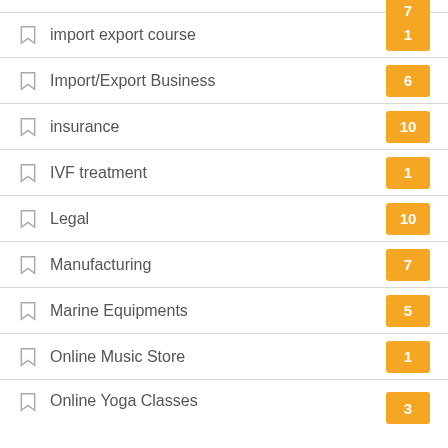import export course
Import/Export Business
insurance
IVF treatment
Legal
Manufacturing
Marine Equipments
Online Music Store
Online Yoga Classes